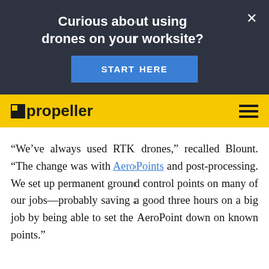Curious about using drones on your worksite?
START HERE
[Figure (logo): Propeller logo on yellow navigation bar with hamburger menu icon]
“We’ve always used RTK drones,” recalled Blount. “The change was with AeroPoints and post-processing. We set up permanent ground control points on many of our jobs—probably saving a good three hours on a big job by being able to set the AeroPoint down on known points.”